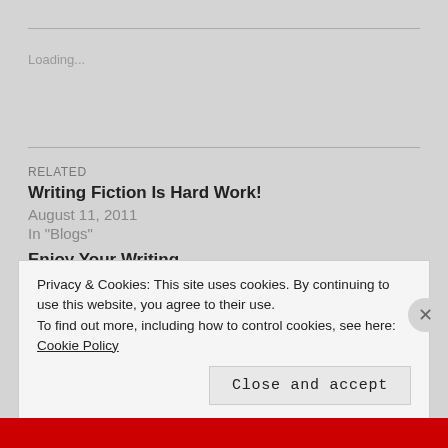Loading...
RELATED
Writing Fiction Is Hard Work!
August 11, 2011
In "Blogs"
Enjoy Your Writing
April 30, 2021
In "On Writing: Resources for Writers"
W for Writing Tips
Privacy & Cookies: This site uses cookies. By continuing to use this website, you agree to their use.
To find out more, including how to control cookies, see here: Cookie Policy
Close and accept